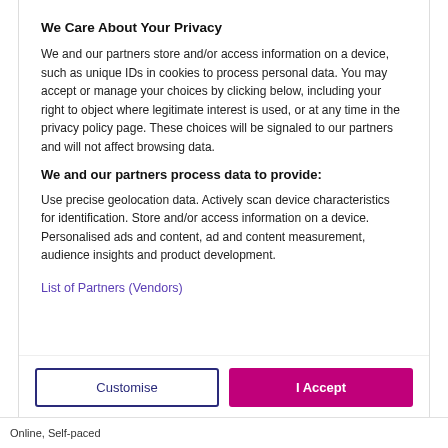We Care About Your Privacy
We and our partners store and/or access information on a device, such as unique IDs in cookies to process personal data. You may accept or manage your choices by clicking below, including your right to object where legitimate interest is used, or at any time in the privacy policy page. These choices will be signaled to our partners and will not affect browsing data.
We and our partners process data to provide:
Use precise geolocation data. Actively scan device characteristics for identification. Store and/or access information on a device. Personalised ads and content, ad and content measurement, audience insights and product development.
List of Partners (Vendors)
Customise
I Accept
Online, Self-paced